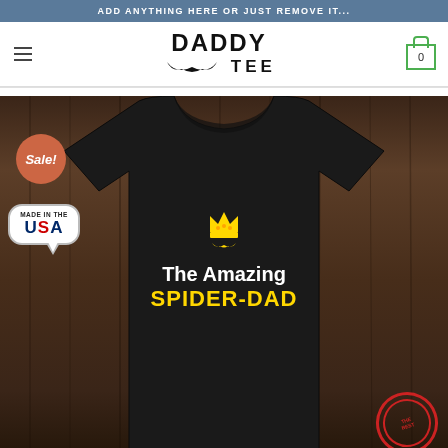ADD ANYTHING HERE OR JUST REMOVE IT...
[Figure (logo): DADDY TEE logo with mustache icon]
[Figure (photo): Black t-shirt with 'The Amazing SPIDER-DAD' text and crown graphic, on wooden background. Includes Sale! badge, Made in the USA speech bubble, and red stamp in corner.]